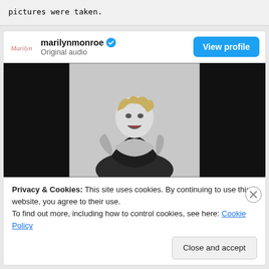pictures were taken.
[Figure (screenshot): Instagram/social media embed card showing marilyn monroe verified account with 'Original audio' subtitle, a View profile button, and a black-and-white photo of Marilyn Monroe posing in a strapless outfit with mouth open]
Privacy & Cookies: This site uses cookies. By continuing to use this website, you agree to their use.
To find out more, including how to control cookies, see here: Cookie Policy
Close and accept